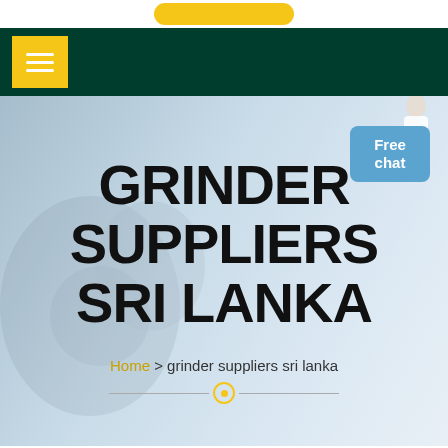[Figure (screenshot): Top white bar with a yellow rounded button partially visible at the top]
[Figure (screenshot): Dark green navigation bar with a yellow hamburger menu button on the left]
GRINDER SUPPLIERS SRI LANKA
Home > grinder suppliers sri lanka